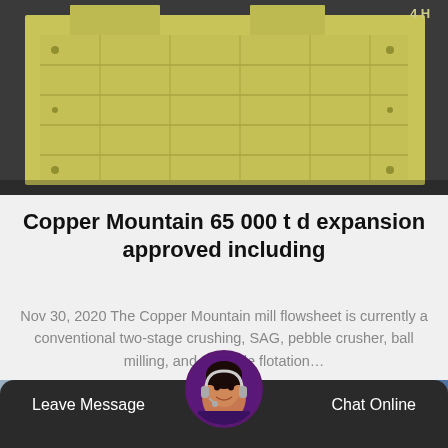[Figure (photo): Yellow industrial crushing/milling machine equipment against dark background]
Copper Mountain 65 000 t d expansion approved including
Nov 30, 2020 The Copper Mountain mill flowsheet is currently a conventional two-stage crushing, SAG, pebble crusher, ball milling, and sulphide flotation…
[Figure (photo): Industrial factory interior with orange beams and overhead cranes]
Leave Message   Chat Online